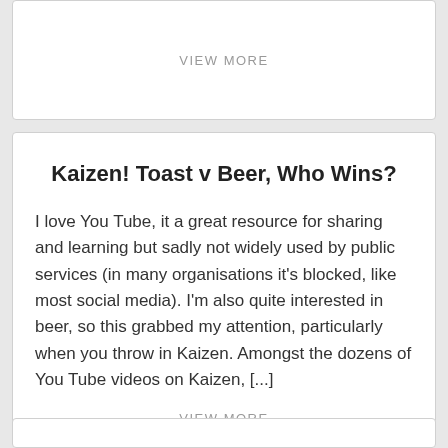VIEW MORE
Kaizen! Toast v Beer, Who Wins?
I love You Tube, it a great resource for sharing and learning but sadly not widely used by public services (in many organisations it's blocked, like most social media). I'm also quite interested in beer, so this grabbed my attention, particularly when you throw in Kaizen. Amongst the dozens of You Tube videos on Kaizen, [...]
VIEW MORE